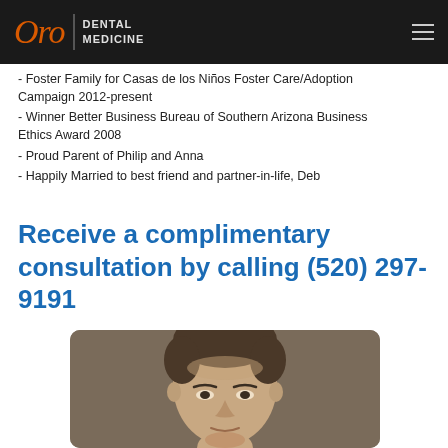Oro Dental Medicine
- Foster Family for Casas de los Niños Foster Care/Adoption Campaign 2012-present
- Winner Better Business Bureau of Southern Arizona Business Ethics Award 2008
- Proud Parent of Philip and Anna
- Happily Married to best friend and partner-in-life, Deb
Receive a complimentary consultation by calling (520) 297-9191
[Figure (photo): Portrait photo of a man with short dark hair against a taupe/brown background, cropped at mid-face level]